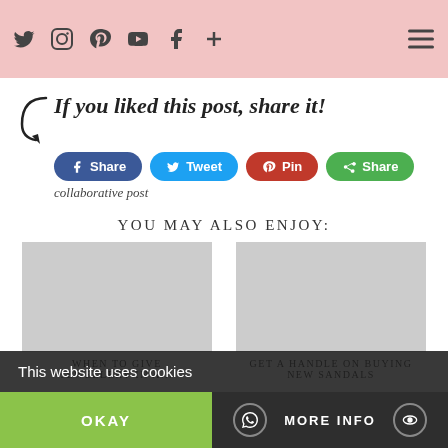Social media icons: Twitter, Instagram, Pinterest, YouTube, Facebook, Plus; Hamburger menu
If you liked this post, share it!
[Figure (infographic): Share buttons: Facebook Share, Twitter Tweet, Pinterest Pin, Green Share]
collaborative post
YOU MAY ALSO ENJOY:
WHEN TO GIVE JEWELLERY IN A...
GET A HANDLE ON BUYING NEW SANDALS
This website uses cookies
OKAY
MORE INFO